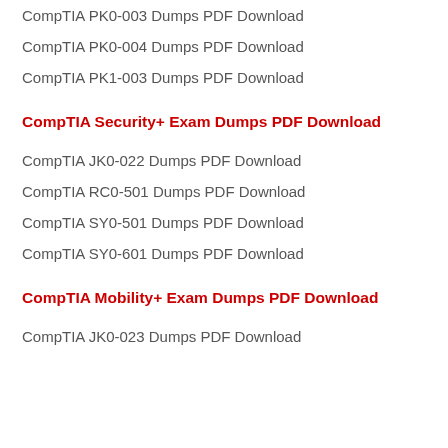CompTIA PK0-003 Dumps PDF Download
CompTIA PK0-004 Dumps PDF Download
CompTIA PK1-003 Dumps PDF Download
CompTIA Security+ Exam Dumps PDF Download
CompTIA JK0-022 Dumps PDF Download
CompTIA RC0-501 Dumps PDF Download
CompTIA SY0-501 Dumps PDF Download
CompTIA SY0-601 Dumps PDF Download
CompTIA Mobility+ Exam Dumps PDF Download
CompTIA JK0-023 Dumps PDF Download